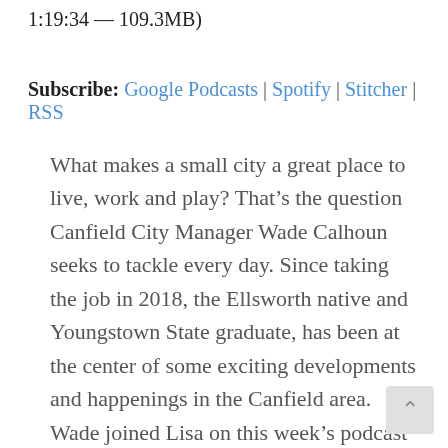1:19:34 — 109.3MB)
Subscribe: Google Podcasts | Spotify | Stitcher | RSS
What makes a small city a great place to live, work and play? That's the question Canfield City Manager Wade Calhoun seeks to tackle every day. Since taking the job in 2018, the Ellsworth native and Youngstown State graduate, has been at the center of some exciting developments and happenings in the Canfield area. Wade joined Lisa on this week's podcast to talk about how the city is thinking outside the box to realize the potential of the Canfield Green area, continue to attract business and residents (and perhaps a brewery?) and make Canfield synonymous with the small town charm. And of course, listen all the way